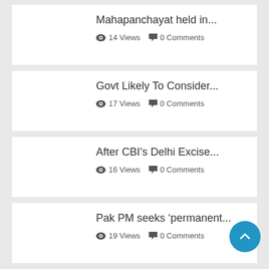Mahapanchayat held in...
14 Views  0 Comments
Govt Likely To Consider...
17 Views  0 Comments
After CBI's Delhi Excise...
16 Views  0 Comments
Pak PM seeks 'permanent...
19 Views  0 Comments